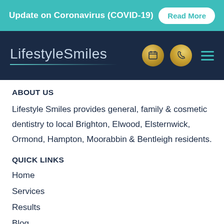Update on Coronavirus (COVID-19)  Read More
[Figure (logo): LifestyleSmiles logo with two gold circle icons (calendar, phone) and hamburger menu on dark navy background]
ABOUT US
Lifestyle Smiles provides general, family & cosmetic dentistry to local Brighton, Elwood, Elsternwick, Ormond, Hampton, Moorabbin & Bentleigh residents.
QUICK LINKS
Home
Services
Results
Blog
About